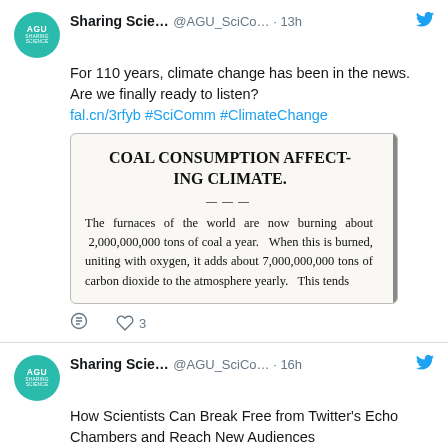[Figure (screenshot): Tweet from Sharing Scie... @AGU_SciCo... 13h: For 110 years, climate change has been in the news. Are we finally ready to listen? fal.cn/3rfyb #SciComm #ClimateChange, with embedded newspaper clipping image showing 'COAL CONSUMPTION AFFECTING CLIMATE.' headline and text about 2,000,000,000 tons of coal burning yearly. 3 likes shown.]
[Figure (screenshot): Tweet from Sharing Scie... @AGU_SciCo... 16h: How Scientists Can Break Free from Twitter's Echo Chambers and Reach New Audiences fal.cn/3rfpT #SciComm, with partial colorful preview image at bottom.]